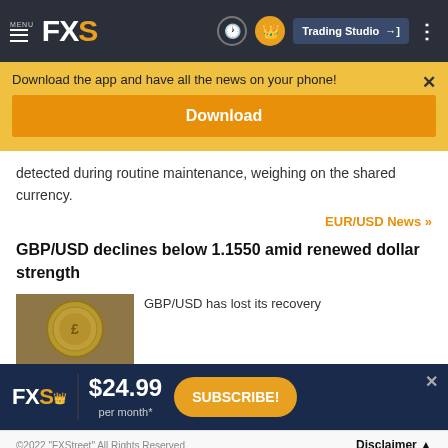FXS — MENU | Trading Studio
Download the app and have all the news on your phone!
Download
detected during routine maintenance, weighing on the shared currency.
EUR/USD News >>
GBP/USD declines below 1.1550 amid renewed dollar strength
GBP/USD has lost its recovery
[Figure (photo): Gold/silver coin photo thumbnail for GBP/USD article]
FXS | $24.99 per month* | SUBSCRIBE!
©2022 "FXStreet" All Rights Reserved    Disclaimer ▲